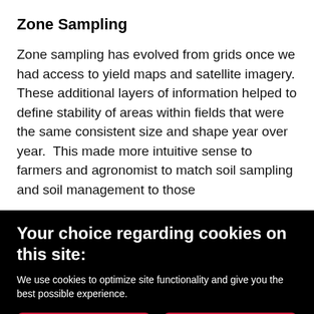Zone Sampling
Zone sampling has evolved from grids once we had access to yield maps and satellite imagery. These additional layers of information helped to define stability of areas within fields that were the same consistent size and shape year over year.  This made more intuitive sense to farmers and agronomist to match soil sampling and soil management to those
Your choice regarding cookies on this site:
We use cookies to optimize site functionality and give you the best possible experience.
I Agree | Privacy Policy